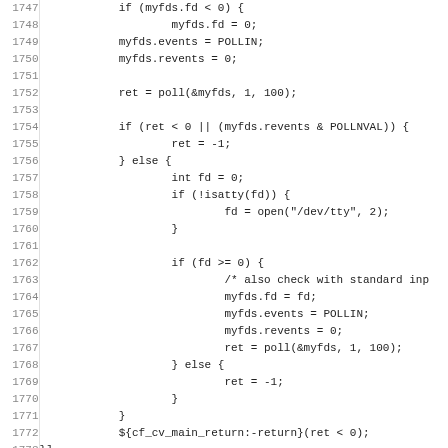[Figure (other): Source code listing (shell/C code) with line numbers 1747-1779, showing poll() system call usage and working poll detection logic.]